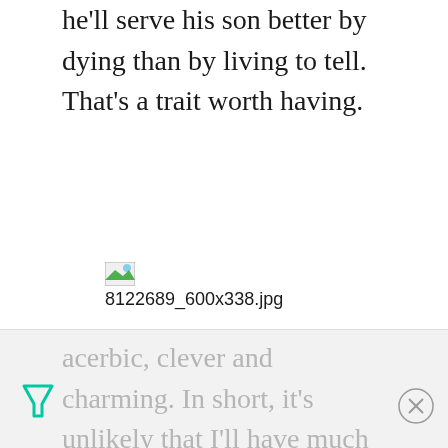he'll serve his son better by dying than by living to tell. That's a trait worth having.
[Figure (photo): Broken/missing image placeholder icon with filename 8122689_600x338.jpg]
Dill (Easy A) is another father the likes of which are rarely seen, the type of father that's really only produced in movies. He's smart. funny. affectionate. acerbic, clever and charming. In short, it's unlikely that I'll have much in common with Dill...